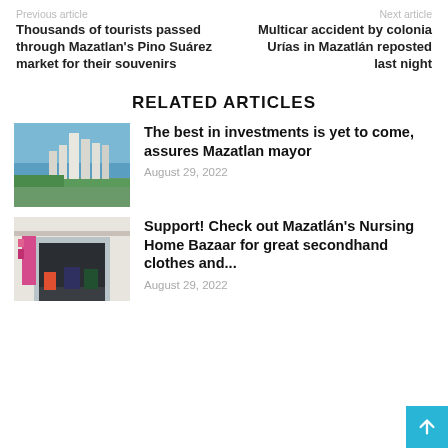Previous article
Next article
Thousands of tourists passed through Mazatlan's Pino Suárez market for their souvenirs
Multicar accident by colonia Urías in Mazatlán reposted last night
RELATED ARTICLES
[Figure (photo): Aerial view of Mazatlan city with tall buildings near the coast]
The best in investments is yet to come, assures Mazatlan mayor
August 29, 2022
[Figure (photo): Storefront of a bazaar or nursing home with clothes on display]
Support! Check out Mazatlán's Nursing Home Bazaar for great secondhand clothes and...
August 29, 2022